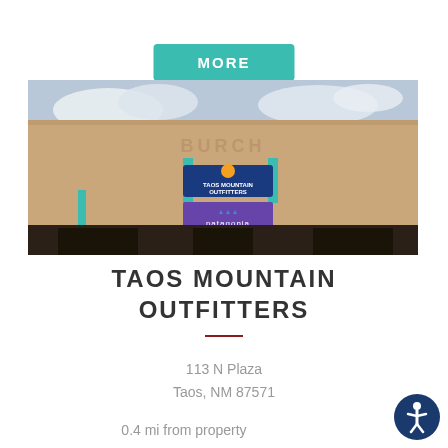MORE
[Figure (photo): Exterior of Taos Mountain Outfitters store in a southwestern adobe-style building with Patagonia sign visible, labeled BURCH at top]
TAOS MOUNTAIN OUTFITTERS
113 N Plaza
Taos, NM 87571
0.4 mi from property